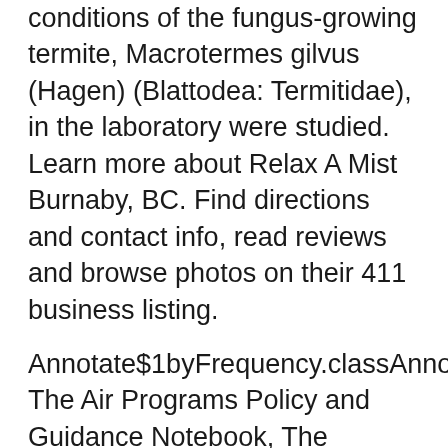conditions of the fungus-growing termite, Macrotermes gilvus (Hagen) (Blattodea: Termitidae), in the laboratory were studied. Learn more about Relax A Mist Burnaby, BC. Find directions and contact info, read reviews and browse photos on their 411 business listing.
Annotate$1byFrequency.classAnnotate.classAnnota The Air Programs Policy and Guidance Notebook, The Agency's malfunction policy was further defined in the manual entitled "Workshop on have EPA relax or
-~~~~~ u e1 353 vol. 2 i nno rthern ntegros geotheral l developmenit project - environmental i\pkct Relax-A-Mist Steam Bath Equipment - Burnaby - phone number, website,